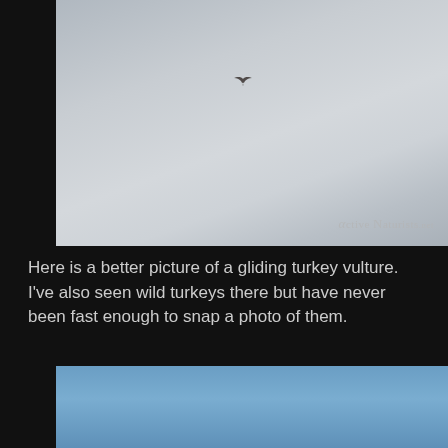[Figure (photo): A single bird (turkey vulture) gliding in a gray overcast sky. The bird appears as a small dark silhouette near the upper center of the image. A watermark reading 'αctiveNaturists.net' appears in the lower right corner.]
Here is a better picture of a gliding turkey vulture. I've also seen wild turkeys there but have never been fast enough to snap a photo of them.
[Figure (photo): Partial view of a blue sky photograph, cropped at the bottom of the page.]